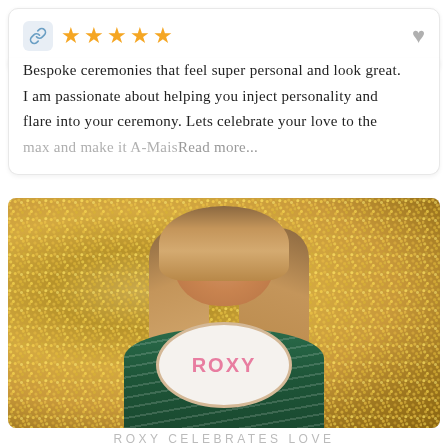[Figure (infographic): Link icon (chain link) in a light blue rounded square, followed by 5 gold star rating icons, and a gray heart icon on the right]
Bespoke ceremonies that feel super personal and look great. I am passionate about helping you inject personality and flare into your ceremony. Lets celebrate your love to the max and make it A-Mais Read more...
[Figure (photo): Smiling blonde woman holding a circular sign that reads ROXY, standing in front of a gold sequin backdrop, wearing a green striped top]
ROXY CELEBRATES LOVE